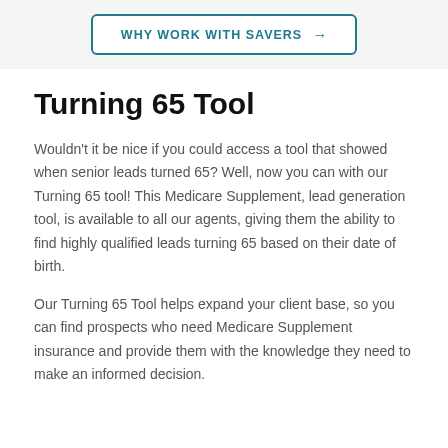WHY WORK WITH SAVERS →
Turning 65 Tool
Wouldn't it be nice if you could access a tool that showed when senior leads turned 65? Well, now you can with our Turning 65 tool! This Medicare Supplement, lead generation tool, is available to all our agents, giving them the ability to find highly qualified leads turning 65 based on their date of birth.
Our Turning 65 Tool helps expand your client base, so you can find prospects who need Medicare Supplement insurance and provide them with the knowledge they need to make an informed decision.